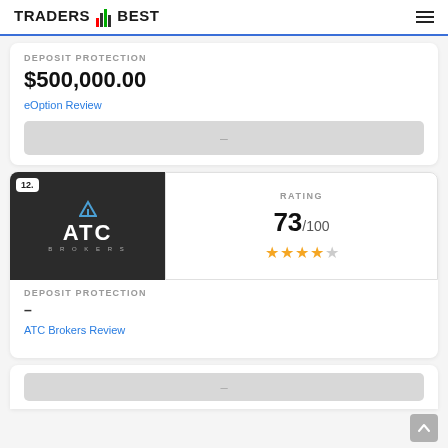TRADERS BEST
DEPOSIT PROTECTION
$500,000.00
eOption Review
[Figure (other): Grey button placeholder]
12.
[Figure (logo): ATC Brokers dark logo on dark background]
RATING 73/100 with 4 out of 5 stars
DEPOSIT PROTECTION
–
ATC Brokers Review
[Figure (other): Grey button placeholder partially visible at bottom]